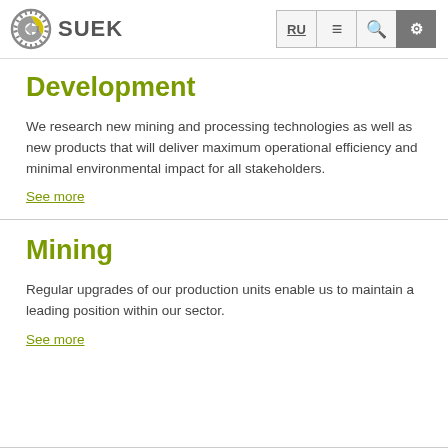SUEK
Development
We research new mining and processing technologies as well as new products that will deliver maximum operational efficiency and minimal environmental impact for all stakeholders.
See more
Mining
Regular upgrades of our production units enable us to maintain a leading position within our sector.
See more